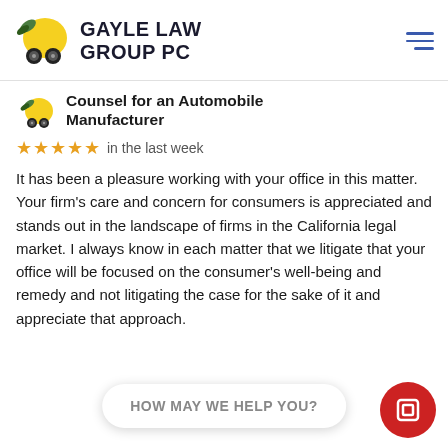[Figure (logo): Gayle Law Group PC logo with lemon car icon and firm name]
Counsel for an Automobile Manufacturer
★★★★★  in the last week
It has been a pleasure working with your office in this matter. Your firm's care and concern for consumers is appreciated and stands out in the landscape of firms in the California legal market. I always know in each matter that we litigate that your office will be focused on the consumer's well-being and remedy and not litigating the case for the sake of it and appreciate that approach.
HOW MAY WE HELP YOU?